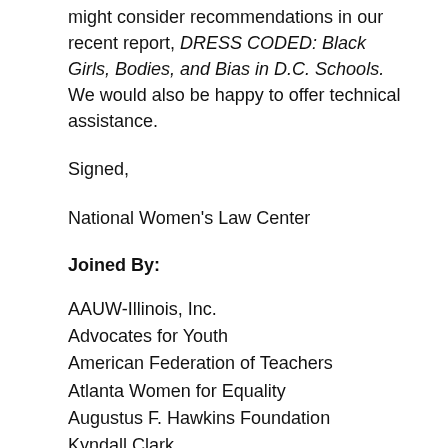might consider recommendations in our recent report, DRESS CODED: Black Girls, Bodies, and Bias in D.C. Schools. We would also be happy to offer technical assistance.
Signed,
National Women's Law Center
Joined By:
AAUW-Illinois, Inc.
Advocates for Youth
American Federation of Teachers
Atlanta Women for Equality
Augustus F. Hawkins Foundation
Kyndall Clark